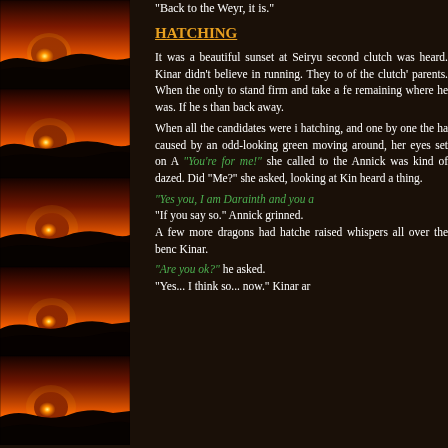[Figure (photo): Six repeated sunset photographs arranged vertically in the left column, showing a red/orange sky with sun near the horizon and dark silhouetted treeline]
"Back to the Weyr, it is."
HATCHING
It was a beautiful sunset at Seiryu second clutch was heard. Kinar didn't believe in running. They to of the clutch' parents. When the only to stand firm and take a fe remaining where he was. If he s than back away.
When all the candidates were i hatching, and one by one the ha caused by an odd-looking green moving around, her eyes set on A "You're for me!" she called to the Annick was kind of dazed. Did "Me?" she asked, looking at Kin heard a thing.
"Yes you, I am Darainth and you a "If you say so." Annick grinned.
A few more dragons had hatche raised whispers all over the benc Kinar.
"Are you ok?" he asked.
"Yes... I think so... now." Kinar ar